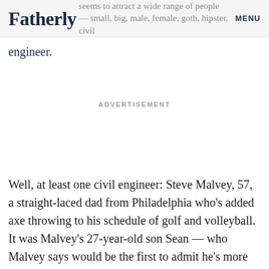Fatherly  MENU  seems to attract a wide range of people — small, big, male, female, goth, hipster, civil engineer.
ADVERTISEMENT
Well, at least one civil engineer: Steve Malvey, 57, a straight-laced dad from Philadelphia who's added axe throwing to his schedule of golf and volleyball. It was Malvey's 27-year-old son Sean — who Malvey says would be the first to admit he's more interested